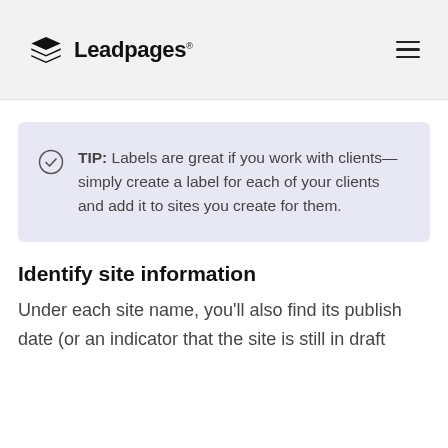Leadpages
TIP: Labels are great if you work with clients—simply create a label for each of your clients and add it to sites you create for them.
Identify site information
Under each site name, you'll also find its publish date (or an indicator that the site is still in draft